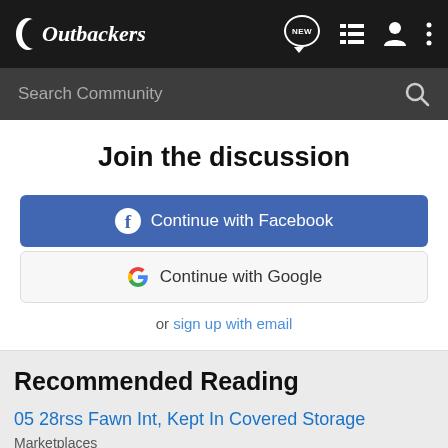Outbackers
Search Community
Join the discussion
Continue with Facebook
Continue with Google
or sign up with email
Recommended Reading
05 28rss Fawn Int, Kept In Covered Storage
Marketplaces